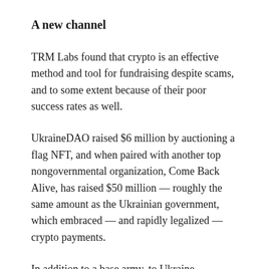A new channel
TRM Labs found that crypto is an effective method and tool for fundraising despite scams, and to some extent because of their poor success rates as well.
UkraineDAO raised $6 million by auctioning a flag NFT, and when paired with another top nongovernmental organization, Come Back Alive, has raised $50 million — roughly the same amount as the Ukrainian government, which embraced — and rapidly legalized — crypto payments.
In addition to a base army, to Ukraine...